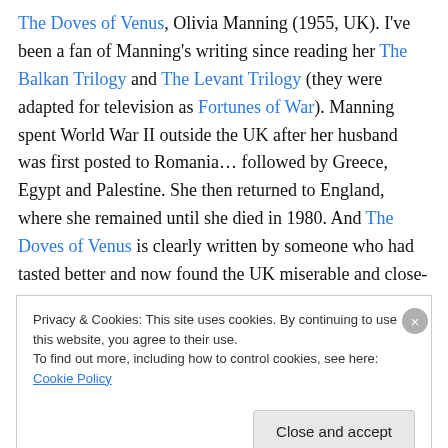The Doves of Venus, Olivia Manning (1955, UK). I've been a fan of Manning's writing since reading her The Balkan Trilogy and The Levant Trilogy (they were adapted for television as Fortunes of War). Manning spent World War II outside the UK after her husband was first posted to Romania… followed by Greece, Egypt and Palestine. She then returned to England, where she remained until she died in 1980. And The Doves of Venus is clearly written by someone who had tasted better and now found the UK miserable and close-minded. I can sympathise. The book is set in the 1950s but is partly based on Manning's own
Privacy & Cookies: This site uses cookies. By continuing to use this website, you agree to their use.
To find out more, including how to control cookies, see here: Cookie Policy
Close and accept